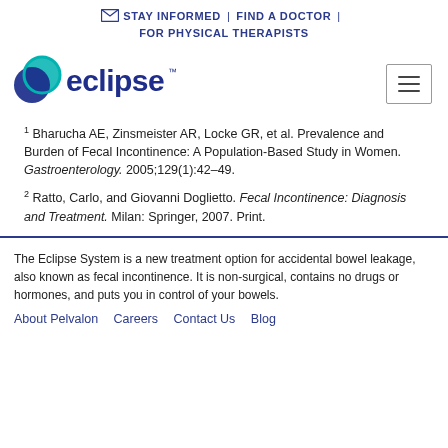STAY INFORMED | FIND A DOCTOR | FOR PHYSICAL THERAPISTS
[Figure (logo): Eclipse logo with teal and dark blue overlapping circles and 'eclipse' wordmark in dark navy]
1 Bharucha AE, Zinsmeister AR, Locke GR, et al. Prevalence and Burden of Fecal Incontinence: A Population-Based Study in Women. Gastroenterology. 2005;129(1):42–49.
2 Ratto, Carlo, and Giovanni Doglietto. Fecal Incontinence: Diagnosis and Treatment. Milan: Springer, 2007. Print.
The Eclipse System is a new treatment option for accidental bowel leakage, also known as fecal incontinence. It is non-surgical, contains no drugs or hormones, and puts you in control of your bowels.
About Pelvalon   Careers   Contact Us   Blog